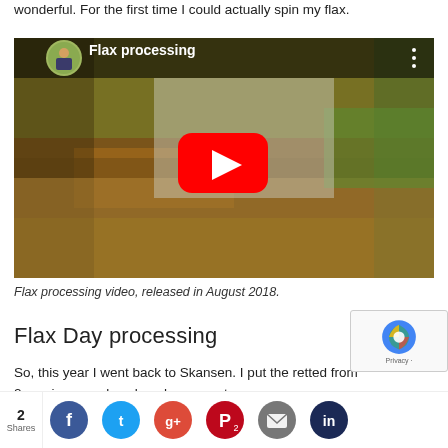wonderful. For the first time I could actually spin my flax.
[Figure (screenshot): YouTube video embed titled 'Flax processing' showing a person's hands working with flax on a wooden surface. A red YouTube play button is centered on the video thumbnail. A circular profile photo appears in the top-left corner.]
Flax processing video, released in August 2018.
Flax Day processing
So, this year I went back to Skansen. I put the retted from 2 in my kpack hoppe nto my r, my
[Figure (screenshot): Social sharing bar at the bottom with share count '2 Shares' and social media icons for Facebook, Twitter, Google+, Pinterest, Email, and another service.]